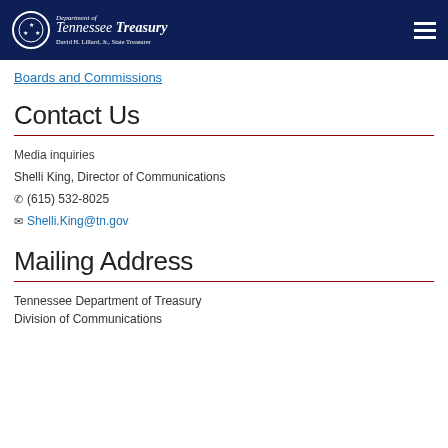Tennessee Department of Treasury — David H. Lillard, Jr., State Treasurer
Boards and Commissions
Contact Us
Media inquiries
Shelli King, Director of Communications
(615) 532-8025
Shelli.King@tn.gov
Mailing Address
Tennessee Department of Treasury
Division of Communications